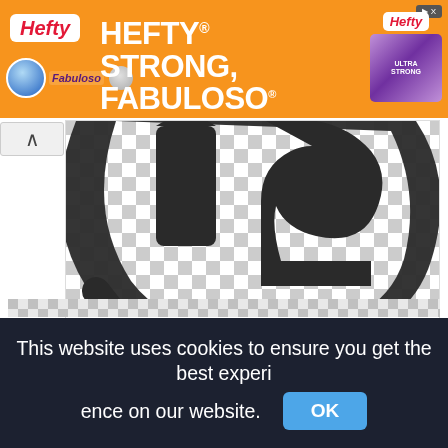[Figure (screenshot): Hefty advertisement banner with orange background. Text reads HEFTY STRONG, FABULOSO FRESH with Hefty and Fabuloso logos and product image.]
[Figure (logo): Young Life logo on checkerboard transparent background showing circular shape with dark elements, cropped close-up view.]
Young Life, Transparent Young Life Logo,star of life png
1176x1175px
[Figure (screenshot): Partial checkerboard pattern of next image card below.]
This website uses cookies to ensure you get the best experience on our website.
OK